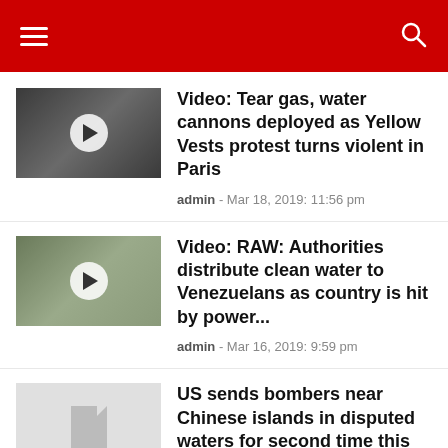Navigation header with hamburger menu and search icon
Video: Tear gas, water cannons deployed as Yellow Vests protest turns violent in Paris
admin - Mar 18, 2019: 11:56 pm
Video: RAW: Authorities distribute clean water to Venezuelans as country is hit by power...
admin - Mar 16, 2019: 9:59 pm
US sends bombers near Chinese islands in disputed waters for second time this month
admin - Mar 15, 2019: 6:33 pm
US sends bombers near Chinese islands